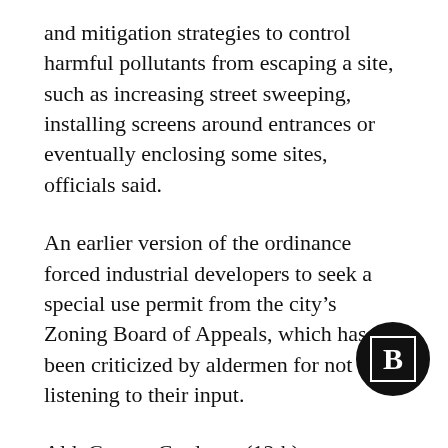and mitigation strategies to control harmful pollutants from escaping a site, such as increasing street sweeping, installing screens around entrances or eventually enclosing some sites, officials said.
An earlier version of the ordinance forced industrial developers to seek a special use permit from the city's Zoning Board of Appeals, which has been criticized by aldermen for not listening to their input.
Ald. George Cardenas (12th), a co-sponsor, initially wanted to send the applicants to the zoning board, but — after hearing pushback from aldermen — he said, "We came to the conclusion that it was really best in our hands."